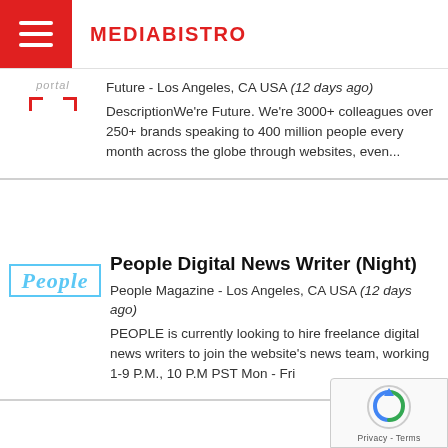MEDIABISTRO
Future - Los Angeles, CA USA (12 days ago)
DescriptionWe're Future. We're 3000+ colleagues over 250+ brands speaking to 400 million people every month across the globe through websites, even...
People Digital News Writer (Night)
People Magazine - Los Angeles, CA USA (12 days ago)
PEOPLE is currently looking to hire freelance digital news writers to join the website's news team, working 1-9 P.M., 10 P.M PST Mon - Fri